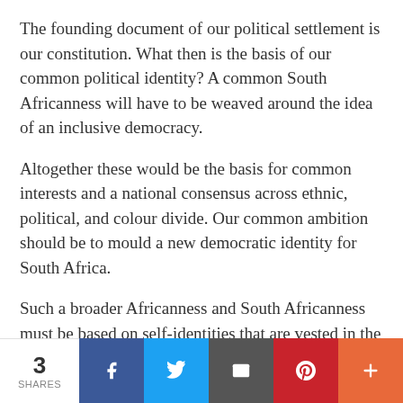The founding document of our political settlement is our constitution. What then is the basis of our common political identity? A common South Africanness will have to be weaved around the idea of an inclusive democracy.
Altogether these would be the basis for common interests and a national consensus across ethnic, political, and colour divide. Our common ambition should be to mould a new democratic identity for South Africa.
Such a broader Africanness and South Africanness must be based on self-identities that are vested in the common constitution, democracy, democratic
3 SHARES | Facebook | Twitter | Email | Pinterest | More